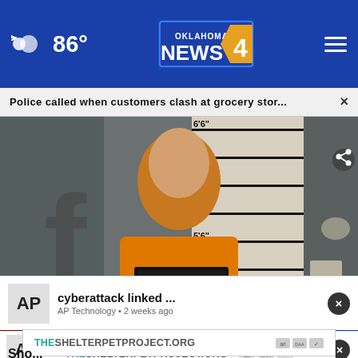Oklahoma's News 4 — 86°
Police called when customers clash at grocery stor... ×
[Figure (photo): Mugshot of a man in an orange jumpsuit holding a Canadian County Sheriff's Office booking sign. Height chart visible behind him showing 5'3" to 6'6". Bottom chyron reads: POLICE CALLED WHEN CUSTOMERS CLASH AT THE MEAT COUNTER with Oklahoma's News 4 logo.]
cyberattack linked ...
AP Technology • 2 weeks ago
THESHELTERPETPROJECT.ORG
Sho...